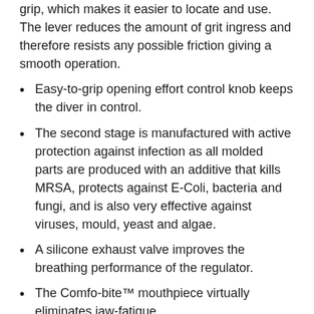grip, which makes it easier to locate and use. The lever reduces the amount of grit ingress and therefore resists any possible friction giving a smooth operation.
Easy-to-grip opening effort control knob keeps the diver in control.
The second stage is manufactured with active protection against infection as all molded parts are produced with an additive that kills MRSA, protects against E-Coli, bacteria and fungi, and is also very effective against viruses, mould, yeast and algae.
A silicone exhaust valve improves the breathing performance of the regulator.
The Comfo-bite™ mouthpiece virtually eliminates jaw-fatigue.
A heat exchanger (patented) which surrounds the valve mechanism, dissipates the cold caused by